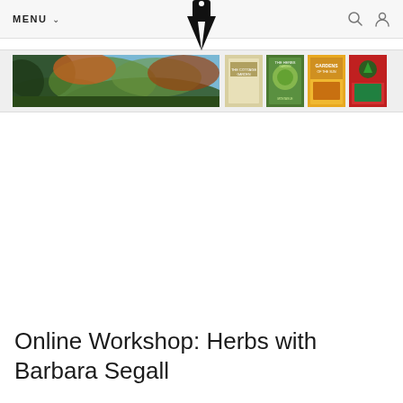MENU
[Figure (screenshot): Website screenshot showing a pen/writing nib logo at top center, navigation menu on left, search and account icons on right, a wide landscape photo banner of trees/garden on left, and four small book cover thumbnails on the right]
Online Workshop: Herbs with Barbara Segall